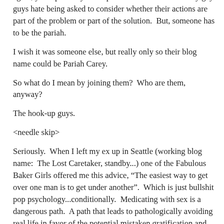again, you'd probably be surprised to find out how many gay guys hate being asked to consider whether their actions are part of the problem or part of the solution.  But, someone has to be the pariah.
I wish it was someone else, but really only so their blog name could be Pariah Carey.
So what do I mean by joining them?  Who are them, anyway?
The hook-up guys.
<needle skip>
Seriously.  When I left my ex up in Seattle (working blog name:  The Lost Caretaker, standby...) one of the Fabulous Baker Girls offered me this advice, “The easiest way to get over one man is to get under another”.  Which is just bullshit pop psychology...conditionally.  Medicating with sex is a dangerous path.  A path that leads to pathologically avoiding real life in favor of the potential mistaken gratification and validation that can be inferred from a hook up.